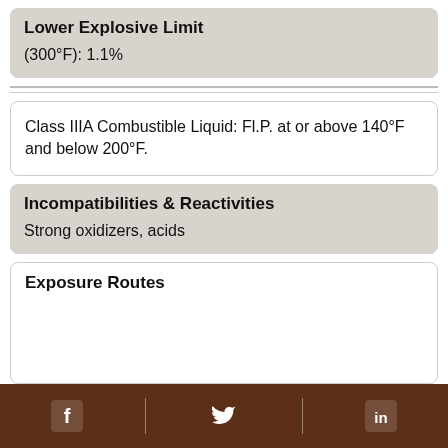Lower Explosive Limit
(300°F): 1.1%
Class IIIA Combustible Liquid: Fl.P. at or above 140°F and below 200°F.
Incompatibilities & Reactivities
Strong oxidizers, acids
Exposure Routes
Facebook | Twitter | LinkedIn